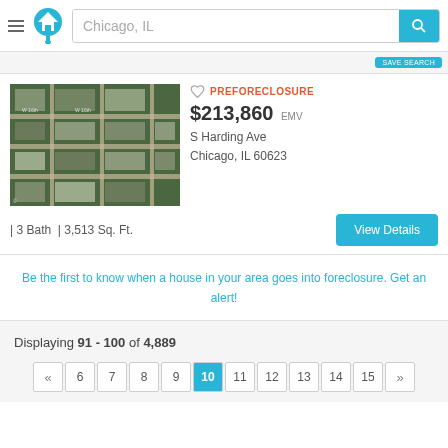Chicago, IL
[Figure (screenshot): Aerial satellite map view of S Harding Ave, Chicago, IL 60623 neighborhood]
PREFORECLOSURE
$213,860 EMV
S Harding Ave
Chicago, IL 60623
| 3 Bath | 3,513 Sq. Ft.
Be the first to know when a house in your area goes into foreclosure. Get an alert!
Displaying 91 - 100 of 4,889
« 6 7 8 9 10 11 12 13 14 15 »